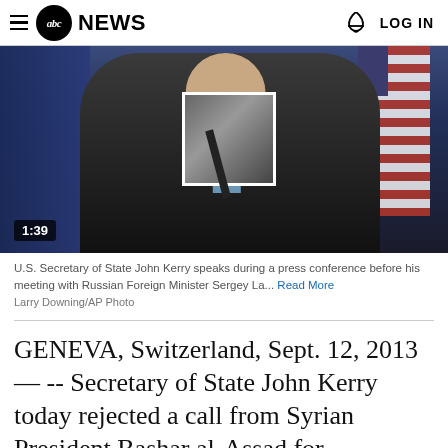abc NEWS  LOG IN
[Figure (photo): U.S. Secretary of State John Kerry speaking at a podium during a press conference, with an American flag in the background. A redacted/blurred box covers part of his face. A video timer badge shows 1:39.]
U.S. Secretary of State John Kerry speaks during a press conference before his meeting with Russian Foreign Minister Sergey La... Read More
Larry Downing/AP Photo
GENEVA, Switzerland, Sept. 12, 2013— -- Secretary of State John Kerry today rejected a call from Syrian President Bashar al-Assad for